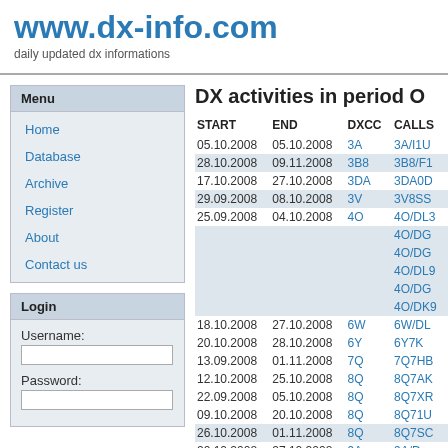www.dx-info.com
daily updated dx informations
Menu
Home
Database
Archive
Register
About
Contact us
Login
Username:
Password:
DX activities in period O
| START | END | DXCC | CALLS |
| --- | --- | --- | --- |
| 05.10.2008 | 05.10.2008 | 3A | 3A/I1U... |
| 28.10.2008 | 09.11.2008 | 3B8 | 3B8/F1... |
| 17.10.2008 | 27.10.2008 | 3DA | 3DA0D... |
| 29.09.2008 | 08.10.2008 | 3V | 3V8SS... |
| 25.09.2008 | 04.10.2008 | 4O | 4O/DL3... |
|  |  |  | 4O/DG... |
|  |  |  | 4O/DG... |
|  |  |  | 4O/DL9... |
|  |  |  | 4O/DG... |
|  |  |  | 4O/DK9... |
| 18.10.2008 | 27.10.2008 | 6W | 6W/DL... |
| 20.10.2008 | 28.10.2008 | 6Y | 6Y7K... |
| 13.09.2008 | 01.11.2008 | 7Q | 7Q7HB... |
| 12.10.2008 | 25.10.2008 | 8Q | 8Q7AK... |
| 22.09.2008 | 05.10.2008 | 8Q | 8Q7XR... |
| 09.10.2008 | 20.10.2008 | 8Q | 8Q71U... |
| 26.10.2008 | 01.11.2008 | 8Q | 8Q7SC... |
| 20.10.2008 | 27.10.2008 | 9A | 9A/D... |